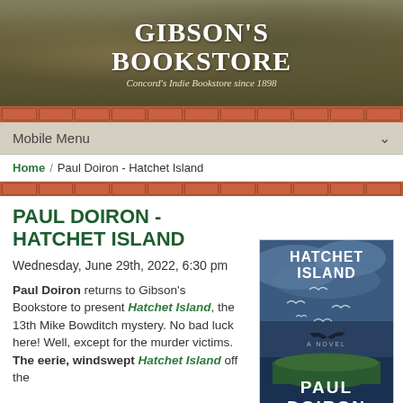[Figure (photo): Gibson's Bookstore banner with store interior photo showing armchairs and bookshelves. Text overlaid: GIBSON'S BOOKSTORE and tagline 'Concord's Indie Bookstore since 1898']
Mobile Menu
Home / Paul Doiron - Hatchet Island
PAUL DOIRON - HATCHET ISLAND
Wednesday, June 29th, 2022, 6:30 pm
Paul Doiron returns to Gibson's Bookstore to present Hatchet Island, the 13th Mike Bowditch mystery. No bad luck here! Well, except for the murder victims. The eerie, windswept Hatchet Island off the
[Figure (photo): Book cover of 'Hatchet Island' by Paul Doiron showing dark atmospheric cover with birds flying over an island, with title text HATCHET ISLAND and author name PAUL DOIRON]